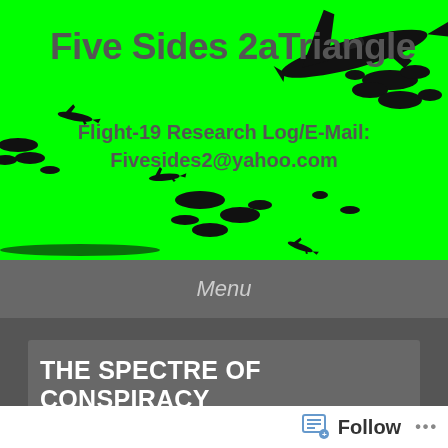[Figure (illustration): Bright green banner background with black airplane silhouettes scattered across it, serving as website header image]
Five Sides 2aTriangle
Flight-19 Research Log/E-Mail: Fivesides2@yahoo.com
Menu
THE SPECTRE OF CONSPIRACY THEORY
Follow ...